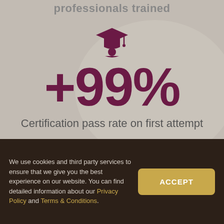professionals trained
[Figure (illustration): Graduation cap icon (mortarboard) in dark maroon/purple color]
+99%
Certification pass rate on first attempt
We use cookies and third party services to ensure that we give you the best experience on our website. You can find detailed information about our Privacy Policy and Terms & Conditions.